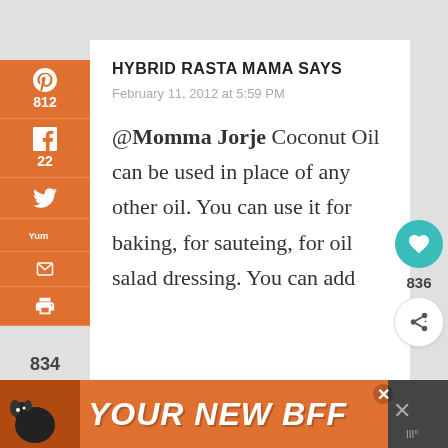HYBRID RASTA MAMA SAYS
February 11, 2012 at 5:59 PM
@Momma Jorje Coconut Oil can be used in place of any other oil. You can use it for baking, for sauteing, for oil salad dressing. You can add
834 SHARES
836
WHAT'S NEXT → Coconut Oil for Thyroid...
[Figure (screenshot): Orange advertisement banner at bottom reading YOUR NEW BFF with a dog image on the left and a close button]
[Figure (infographic): Left orange social sharing sidebar with Pinterest (812), Facebook (22), Twitter, Yummly, email, and print icons]